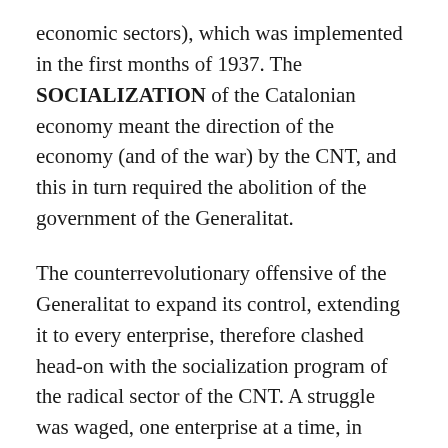economic sectors), which was implemented in the first months of 1937. The SOCIALIZATION of the Catalonian economy meant the direction of the economy (and of the war) by the CNT, and this in turn required the abolition of the government of the Generalitat.
The counterrevolutionary offensive of the Generalitat to expand its control, extending it to every enterprise, therefore clashed head-on with the socialization program of the radical sector of the CNT. A struggle was waged, one enterprise at a time, in which the assemblies that were supposed to vote for socialization were subjected to a wide variety of forms of pressure and manipulation, from the most despicable political intrigues to the use of the police. In this bitter struggle, unfolding in one enterprise at a time, a struggle that the superior committees of the CNT